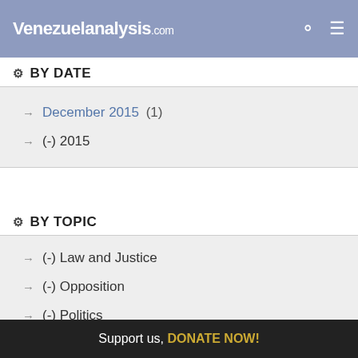Venezuelanalysis.com
BY DATE
December 2015 (1)
(-) 2015
BY TOPIC
(-) Law and Justice
(-) Opposition
(-) Politics
Social Programs (1)
Support us, DONATE NOW!